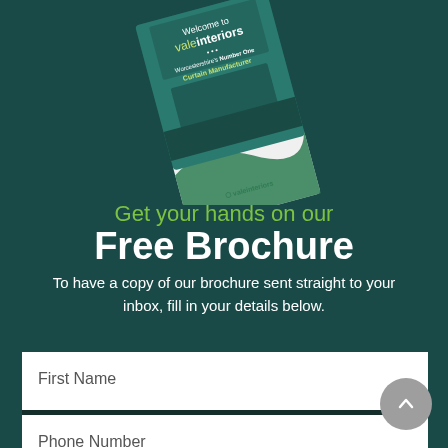[Figure (illustration): A tilted brochure booklet for Vale Interiors showing 'Welcome to valeinteriors ... Worcestershire's Number One Curtain Manufacturer' with a teal interior room photo on the cover, rotated slightly clockwise on a dark teal background.]
Get your hands on our
Free Brochure
To have a copy of our brochure sent straight to your inbox, fill in your details below.
First Name
Phone Number